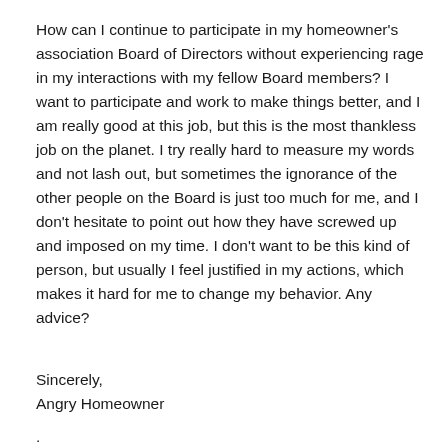How can I continue to participate in my homeowner's association Board of Directors without experiencing rage in my interactions with my fellow Board members? I want to participate and work to make things better, and I am really good at this job, but this is the most thankless job on the planet. I try really hard to measure my words and not lash out, but sometimes the ignorance of the other people on the Board is just too much for me, and I don't hesitate to point out how they have screwed up and imposed on my time. I don't want to be this kind of person, but usually I feel justified in my actions, which makes it hard for me to change my behavior. Any advice?
Sincerely,
Angry Homeowner
.